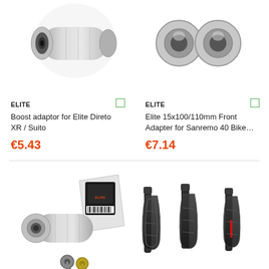[Figure (photo): Silver cylindrical bike adapter/boost component, top-left product image]
[Figure (photo): Silver cylindrical bike front adapter component, top-right product image]
ELITE
Boost adaptor for Elite Direto XR / Suito
€5.43
ELITE
Elite 15x100/110mm Front Adapter for Sanremo 40 Bike…
€7.14
[Figure (photo): Silver bike lock cylinder with keys and packaging, bottom-left product image]
[Figure (photo): Black carbon bicycle bottle cages set of three, bottom-right product image]